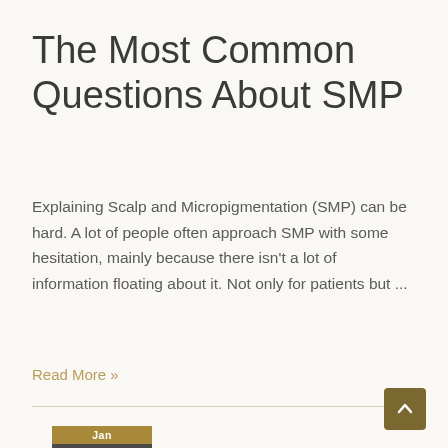The Most Common Questions About SMP
Explaining Scalp and Micropigmentation (SMP) can be hard. A lot of people often approach SMP with some hesitation, mainly because there isn't a lot of information floating about it. Not only for patients but ...
Read More »
Jan 31 2020